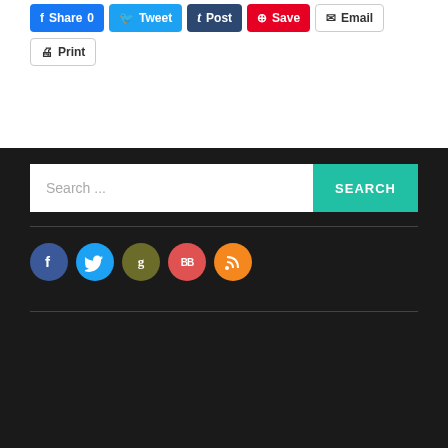[Figure (screenshot): Social sharing buttons: Facebook Share 0, Tweet, Tumblr Post, Pinterest Save, Email, Print]
[Figure (screenshot): Dark footer section with search bar and social media icon circles (Facebook, Twitter, Google, BlogBooster, RSS)]